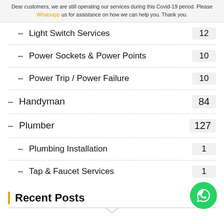Dear customers, we are still operating our services during this Covid-19 period. Please Whatsapp us for assistance on how we can help you. Thank you.
Light Switch Services  12
Power Sockets & Power Points  10
Power Trip / Power Failure  10
Handyman  84
Plumber  127
Plumbing Installation  1
Tap & Faucet Services  1
Recent Posts